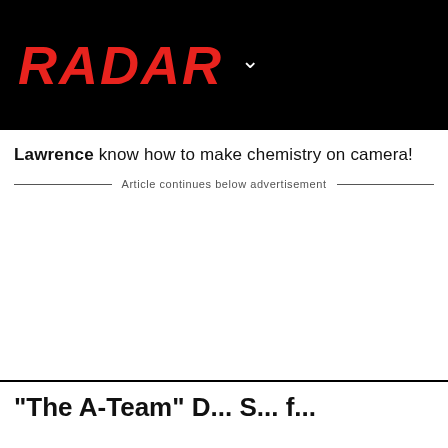RADAR
Lawrence know how to make chemistry on camera!
Article continues below advertisement
"The A-Team" D...  S... f...